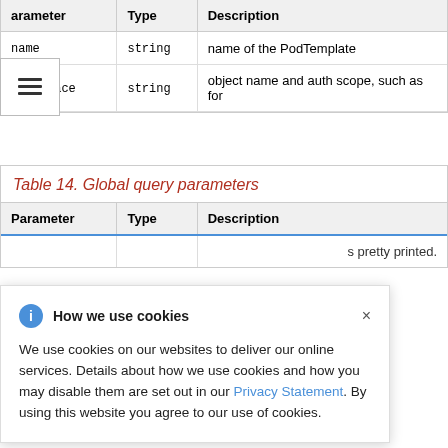| Parameter | Type | Description |
| --- | --- | --- |
| name | string | name of the PodTemplate |
| namespace | string | object name and auth scope, such as for |
Table 14. Global query parameters
| Parameter | Type | Description |
| --- | --- | --- |
How we use cookies

We use cookies on our websites to deliver our online services. Details about how we use cookies and how you may disable them are set out in our Privacy Statement. By using this website you agree to our use of cookies.